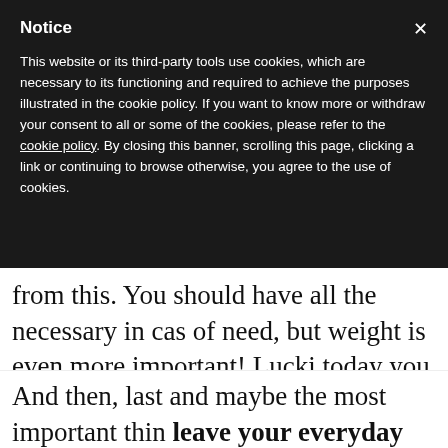Notice
This website or its third-party tools use cookies, which are necessary to its functioning and required to achieve the purposes illustrated in the cookie policy. If you want to know more or withdraw your consent to all or some of the cookies, please refer to the cookie policy.
By closing this banner, scrolling this page, clicking a link or continuing to browse otherwise, you agree to the use of cookies.
from this. You should have all the necessary in case of need, but weight is even more important! Lucki today you can find perfect materials that will help you.
And then, last and maybe the most important thin leave your everyday life, your ideas and your mental stereotypes at home. You shouldn't expect